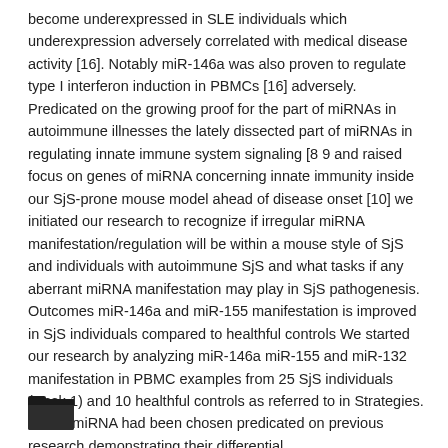become underexpressed in SLE individuals which underexpression adversely correlated with medical disease activity [16]. Notably miR-146a was also proven to regulate type I interferon induction in PBMCs [16] adversely. Predicated on the growing proof for the part of miRNAs in autoimmune illnesses the lately dissected part of miRNAs in regulating innate immune system signaling [8 9 and raised focus on genes of miRNA concerning innate immunity inside our SjS-prone mouse model ahead of disease onset [10] we initiated our research to recognize if irregular miRNA manifestation/regulation will be within a mouse style of SjS and individuals with autoimmune SjS and what tasks if any aberrant miRNA manifestation may play in SjS pathogenesis. Outcomes miR-146a and miR-155 manifestation is improved in SjS individuals compared to healthful controls We started our research by analyzing miR-146a miR-155 and miR-132 manifestation in PBMC examples from 25 SjS individuals (Desk 1) and 10 healthful controls as referred to in Strategies. These miRNA had been chosen predicated on previous research demonstrating their differential.
[Figure (illustration): Folder icon (open folder) in dark color at bottom left of page]